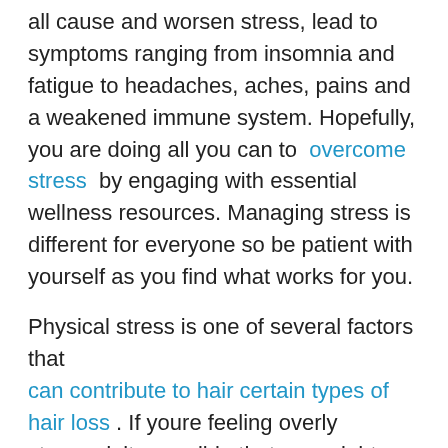all cause and worsen stress, lead to symptoms ranging from insomnia and fatigue to headaches, aches, pains and a weakened immune system. Hopefully, you are doing all you can to overcome stress by engaging with essential wellness resources. Managing stress is different for everyone so be patient with yourself as you find what works for you.
Physical stress is one of several factors that can contribute to hair certain types of hair loss . If youre feeling overly stressed, its possible that you might notice your hair starting to fall out and thin, even if youre not genetically prone to female hair loss.
Below, weve explained how stress can affect your hair health, as well as what you can do to treat hair loss from stress. Weve also listed other potential causes of hair loss in women that are easy to mistake for stress-induced hair loss.